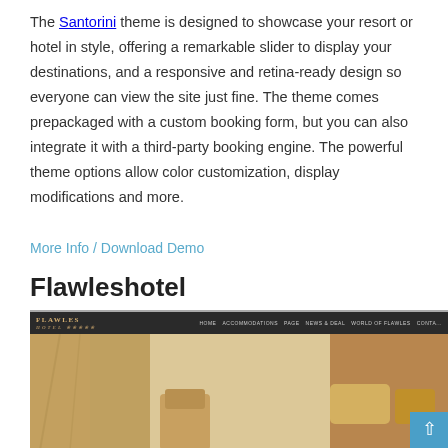The Santorini theme is designed to showcase your resort or hotel in style, offering a remarkable slider to display your destinations, and a responsive and retina-ready design so everyone can view the site just fine. The theme comes prepackaged with a custom booking form, but you can also integrate it with a third-party booking engine. The powerful theme options allow color customization, display modifications and more.
More Info / Download Demo
Flawleshotel
[Figure (screenshot): Screenshot of the Flawleshotel WordPress theme showing a dark navigation bar with logo 'FLAWLES Hotel' and menu items (HOME, ACCOMMODATIONS, PAGE, NEWS & DEAL, WORLD OF FLAWLES, CONTACT), with a hotel interior image showing warm golden/brown tones with furniture.]